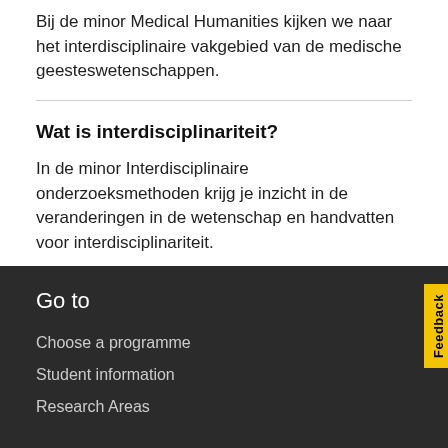Bij de minor Medical Humanities kijken we naar het interdisciplinaire vakgebied van de medische geesteswetenschappen.
Wat is interdisciplinariteit?
In de minor Interdisciplinaire onderzoeksmethoden krijg je inzicht in de veranderingen in de wetenschap en handvatten voor interdisciplinariteit.
Go to
Choose a programme
Student information
Research Areas
Feedback